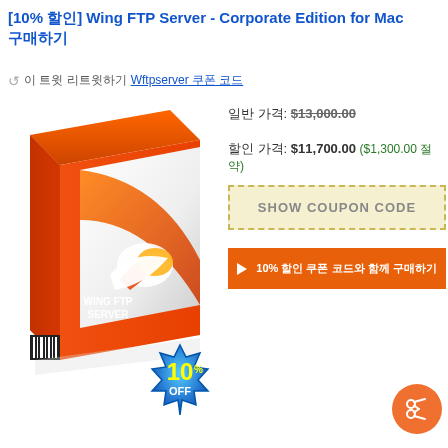[10% 할인] Wing FTP Server - Corporate Edition for Mac 구매하기
이 트윗 리트윗하기 Wftpserver 쿠폰 코드
[Figure (photo): Wing FTP Server software box with orange design and a 10% OFF badge]
일반 가격: $13,000.00
할인 가격: $11,700.00 ($1,300.00 절약)
SHOW COUPON CODE
10% 할인 쿠폰 코드와 함께 구매하기